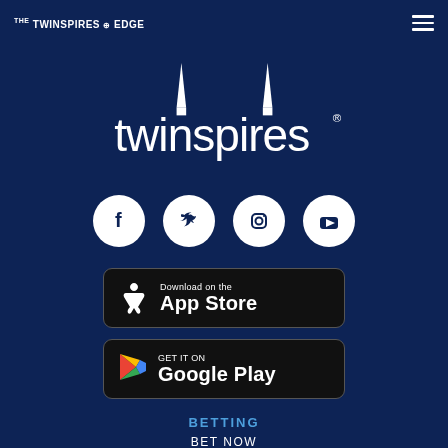THE TWINSPIRES EDGE
[Figure (logo): TwinSpires logo with twin spire towers above the word 'twinspires' in white on dark navy background]
[Figure (illustration): Four social media icons in white circles: Facebook, Twitter, Instagram, YouTube]
[Figure (screenshot): Download on the App Store button]
[Figure (screenshot): GET IT ON Google Play button]
BETTING
BET NOW
ODDS